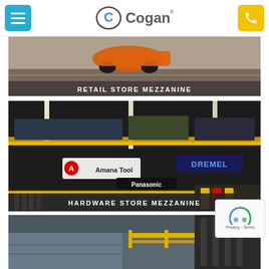[Figure (logo): Cogan company logo with blue 'C' emblem and phone/menu icons in header]
[Figure (photo): Retail store mezzanine with orange vehicle/ATV on upper floor]
RETAIL STORE MEZZANINE
[Figure (photo): Hardware store mezzanine with shelves of tools, Amana Tool, Dremel, Panasonic brand signage and yellow railings]
HARDWARE STORE MEZZANINE
[Figure (photo): Bottom partial image of another mezzanine with yellow railings]